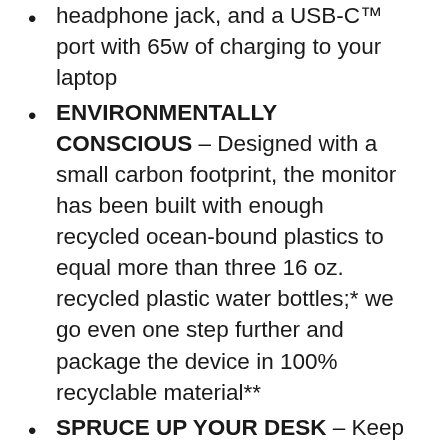headphone jack, and a USB-C™ port with 65w of charging to your laptop
ENVIRONMENTALLY CONSCIOUS – Designed with a small carbon footprint, the monitor has been built with enough recycled ocean-bound plastics to equal more than three 16 oz. recycled plastic water bottles;* we go even one step further and package the device in 100% recyclable material**
SPRUCE UP YOUR DESK – Keep your workspace comfortable and clutter-free with full function adjustability and a single USB-C™ port for all your devices
WARRANTY – Rest easy knowing that your purchase is backed up by HP standard 1-year limited warranty